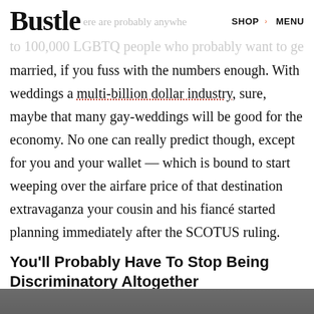Bustle  [there are probably anywhere]  SHOP  MENU
to 100,000 LGBTQ people who probably want to get married, if you fuss with the numbers enough. With weddings a multi-billion dollar industry, sure, maybe that many gay-weddings will be good for the economy. No one can really predict though, except for you and your wallet — which is bound to start weeping over the airfare price of that destination extravaganza your cousin and his fiancé started planning immediately after the SCOTUS ruling.
You'll Probably Have To Stop Being Discriminatory Altogether
[Figure (photo): Partial photo strip visible at bottom of page]